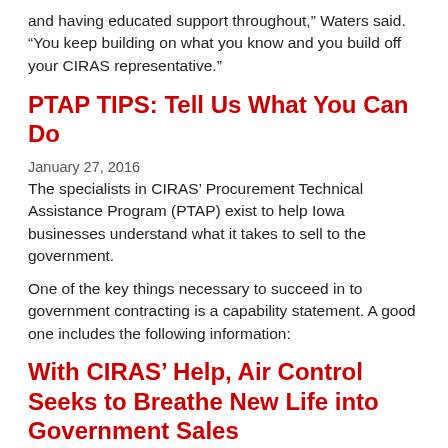and having educated support throughout," Waters said. "You keep building on what you know and you build off your CIRAS representative."
PTAP TIPS: Tell Us What You Can Do
January 27, 2016
The specialists in CIRAS' Procurement Technical Assistance Program (PTAP) exist to help Iowa businesses understand what it takes to sell to the government.
One of the key things necessary to succeed in to government contracting is a capability statement. A good one includes the following information:
With CIRAS’ Help, Air Control Seeks to Breathe New Life into Government Sales